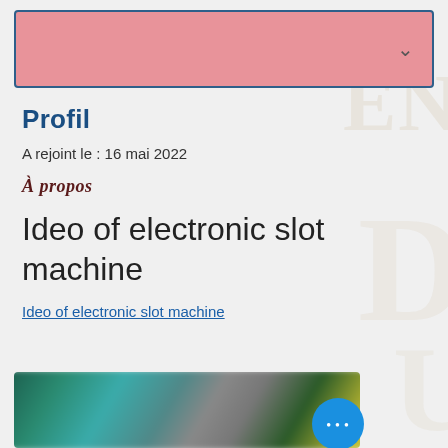[Figure (screenshot): Pink header bar with chevron/dropdown arrow on the right side, bordered with dark blue]
Profil
A rejoint le : 16 mai 2022
À propos
Ideo of electronic slot machine
Ideo of electronic slot machine
[Figure (photo): Blurred thumbnail image with teal/green tones showing blurred figures, with a blue circular button with three dots (more options) overlaid]